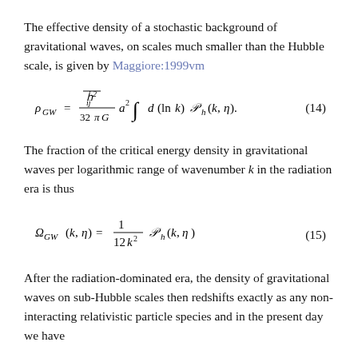The effective density of a stochastic background of gravitational waves, on scales much smaller than the Hubble scale, is given by Maggiore:1999vm
The fraction of the critical energy density in gravitational waves per logarithmic range of wavenumber k in the radiation era is thus
After the radiation-dominated era, the density of gravitational waves on sub-Hubble scales then redshifts exactly as any non-interacting relativistic particle species and in the present day we have